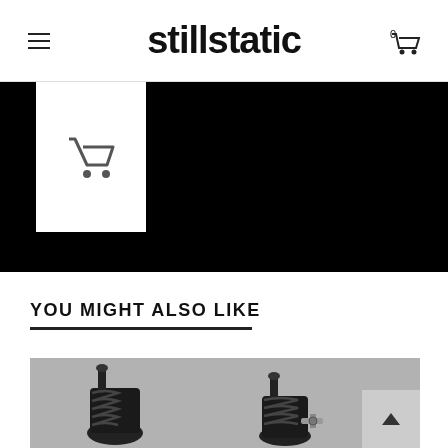stillstatic
[Figure (screenshot): E-commerce product page screenshot showing a black product image area with a white cart button on the left and black background on the right]
YOU MIGHT ALSO LIKE
[Figure (photo): Photo of black coilover suspension parts on a grey background]